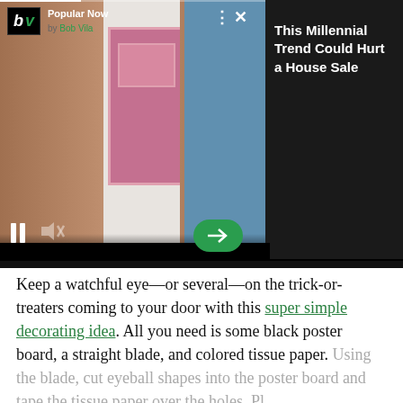[Figure (screenshot): Video player with house/front door image on left, Bob Vila 'Popular Now' logo overlay top-left, pause and mute controls bottom-left, green arrow button bottom-center, dots menu and X close button top-center, dark right panel with article headline]
This Millennial Trend Could Hurt a House Sale
Keep a watchful eye—or several—on the trick-or-treaters coming to your door with this super simple decorating idea. All you need is some black poster board, a straight blade, and colored tissue paper. Using the blade, cut eyeball shapes into the poster board and tape the tissue paper over the holes. Pl…